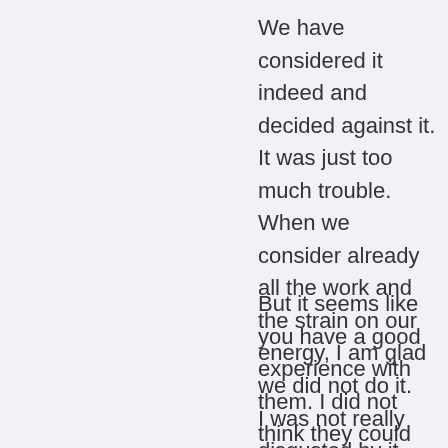We have considered it indeed and decided against it. It was just too much trouble. When we consider already all the work and the strain on our energy, I am glad we did not do it. I was not really disgusted by it, you see the stuff anyway :) But it was about saving time.
But it seems like you have a good experience with them. I did not think they could be using the pot so early on with cloth diapers. I was thinking this would be like diapers but just have to